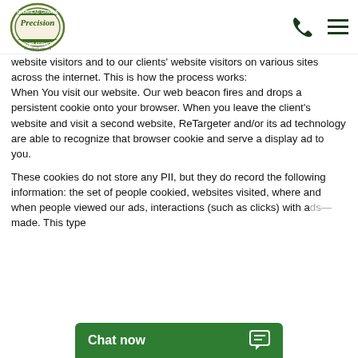Precision Door Service — a Neighborly company
website visitors and to our clients' website visitors on various sites across the internet. This is how the process works:
When You visit our website. Our web beacon fires and drops a persistent cookie onto your browser. When you leave the client's website and visit a second website, ReTargeter and/or its ad technology are able to recognize that browser cookie and serve a display ad to you.
These cookies do not store any PII, but they do record the following information: the set of people cookied, websites visited, where and when people viewed our ads, interactions (such as clicks) with a… made. This type…